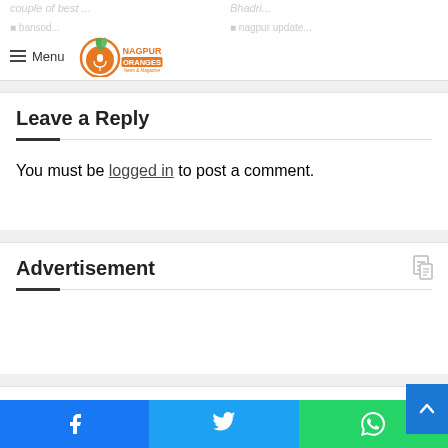Menu | Nagpur Oranges News & Magazine
Leave a Reply
You must be logged in to post a comment.
Advertisement
Calandar
Facebook | Twitter | WhatsApp